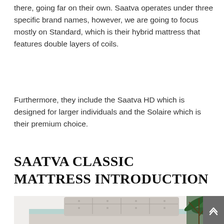there, going far on their own. Saatva operates under three specific brand names, however, we are going to focus mostly on Standard, which is their hybrid mattress that features double layers of coils.
Furthermore, they include the Saatva HD which is designed for larger individuals and the Solaire which is their premium choice.
SAATVA CLASSIC MATTRESS INTRODUCTION
[Figure (photo): Photo of a bed with a tufted upholstered headboard in light grey, a green tropical plant to the right, in a bright bedroom setting.]